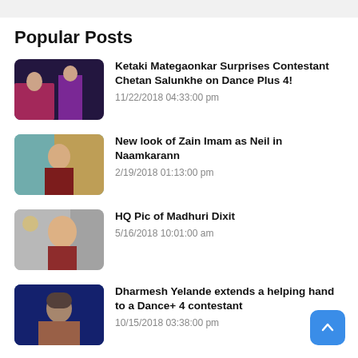Popular Posts
Ketaki Mategaonkar Surprises Contestant Chetan Salunkhe on Dance Plus 4! | 11/22/2018 04:33:00 pm
New look of Zain Imam as Neil in Naamkarann | 2/19/2018 01:13:00 pm
HQ Pic of Madhuri Dixit | 5/16/2018 10:01:00 am
Dharmesh Yelande extends a helping hand to a Dance+ 4 contestant | 10/15/2018 03:38:00 pm
The value of conserving water in Mere Sai